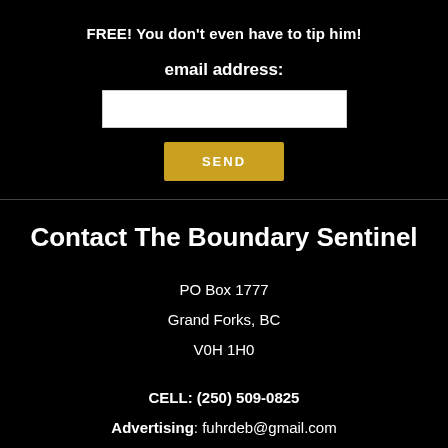FREE! You don't even have to tip him!
email address:
SEND
Contact The Boundary Sentinel
PO Box 1777
Grand Forks, BC
V0H 1H0
CELL: (250) 509-0825
Advertising: fuhrdeb@gmail.com
For general information and editorial content: